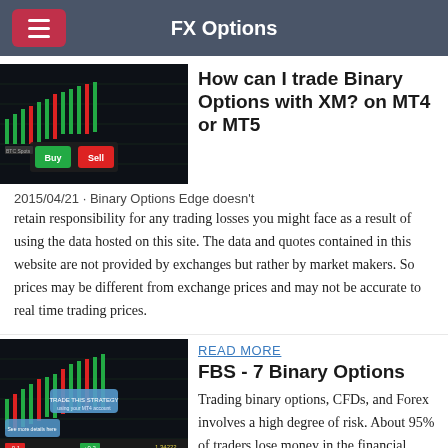FX Options
[Figure (screenshot): Financial trading chart screenshot showing candlestick chart with green Buy and red Sell buttons]
How can I trade Binary Options with XM? on MT4 or MT5
2015/04/21 · Binary Options Edge doesn't retain responsibility for any trading losses you might face as a result of using the data hosted on this site. The data and quotes contained in this website are not provided by exchanges but rather by market makers. So prices may be different from exchange prices and may not be accurate to real time trading prices.
READ MORE
[Figure (screenshot): Financial trading chart screenshot showing candlestick chart with blue annotation bubbles and price data]
FBS - 7 Binary Options
Trading binary options, CFDs, and Forex involves a high degree of risk. About 95% of traders lose money in the financial markets. Most binary options brokers are not regulated in the US.